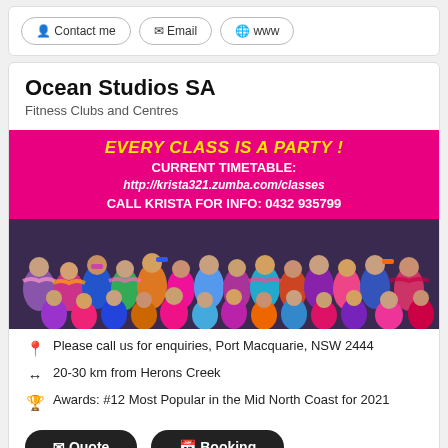Contact me  Email  www
Ocean Studios SA
Fitness Clubs and Centres
[Figure (photo): Promotional image for Ocean Studios SA Zumba classes. Pink background with text: EVERY CLASS IS A PARTY! CURRENT TIMETABLE: http://krista321.zumba.com/classes CALL KRISTA FOR INFO: 0432 935799. Below is a group photo of many people in colorful costumes and feather boas.]
Please call us for enquiries, Port Macquarie, NSW 2444
20-30 km from Herons Creek
Awards: #12 Most Popular in the Mid North Coast for 2021
Quote  Booking